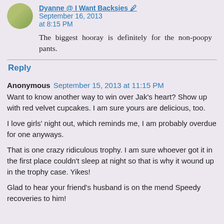Dyanne @ I Want Backsies · September 16, 2013 at 8:15 PM
The biggest hooray is definitely for the non-poopy pants.
Reply
Anonymous  September 15, 2013 at 11:15 PM
Want to know another way to win over Jak's heart? Show up with red velvet cupcakes. I am sure yours are delicious, too.
I love girls' night out, which reminds me, I am probably overdue for one anyways.
That is one crazy ridiculous trophy. I am sure whoever got it in the first place couldn't sleep at night so that is why it wound up in the trophy case. Yikes!
Glad to hear your friend's husband is on the mend Speedy recoveries to him!